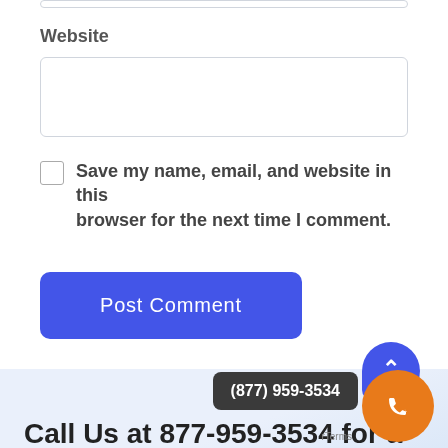Website
Save my name, email, and website in this browser for the next time I comment.
Post Comment
(877) 959-3534
Call Us at 877-959-3534 for a